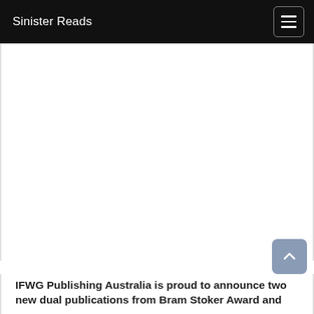Sinister Reads
[Figure (other): Large white blank content area, likely an image placeholder]
IFWG Publishing Australia is proud to announce two new dual publications from Bram Stoker Award and